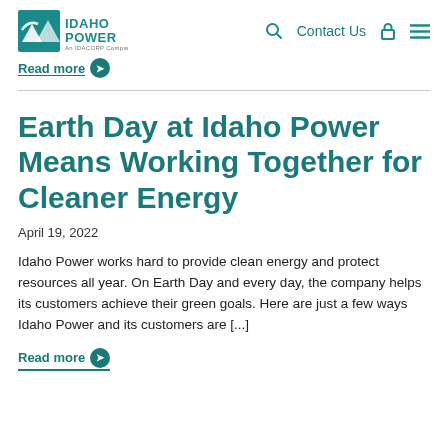Idaho Power — An IDACORP Company | Search | Contact Us
Read more →
Earth Day at Idaho Power Means Working Together for Cleaner Energy
April 19, 2022
Idaho Power works hard to provide clean energy and protect resources all year. On Earth Day and every day, the company helps its customers achieve their green goals. Here are just a few ways Idaho Power and its customers are [...]
Read more →